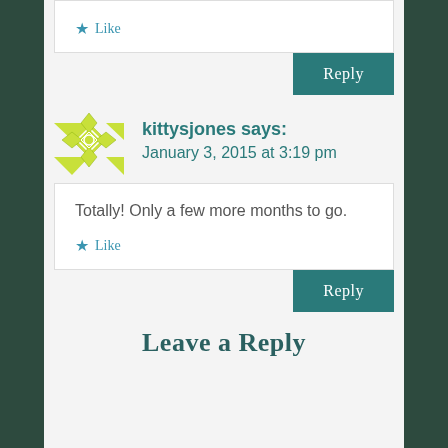Like
Reply
kittysjones says:
January 3, 2015 at 3:19 pm
Totally! Only a few more months to go.
Like
Reply
Leave a Reply